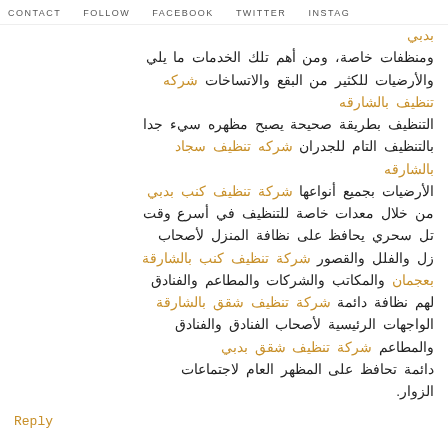CONTACT   FOLLOW   FACEBOOK   TWITTER   INSTAG
ومنظفات خاصة، ومن أهم تلك الخدمات ما يلي والأرضيات للكثير من البقع والاتساخات شركه تنظيف بالشارقه التنظيف بطريقة صحيحة يصبح مظهره سيء جدا من بالتنظيف التام للجدران شركه تنظيف سجاد بالشارقه الأرضيات بجميع أنواعها شركة تنظيف كنب بدبي من خلال معدات خاصة للتنظيف في أسرع وقت تل سحري يحافظ على نظافة المنزل لأصحاب زل والفلل والقصور شركة تنظيف كنب بالشارقة بعجمان والمكاتب والشركات والمطاعم والفنادق لهم نظافة دائمة شركة تنظيف شقق بالشارقة الواجهات الرئيسية لأصحاب الفنادق والفنادق والمطاعم شركة تنظيف شقق بدبي دائمة تحافظ على المظهر العام لاجتماعات الزوار.
Reply